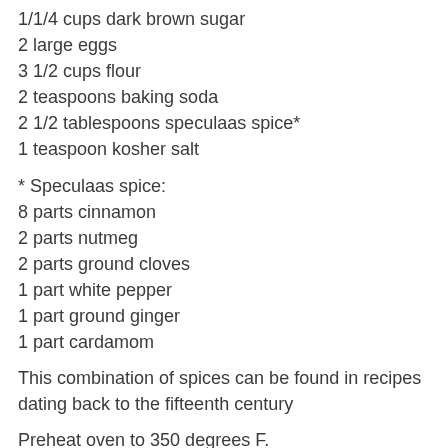1/1/4 cups dark brown sugar
2 large eggs
3 1/2 cups flour
2 teaspoons baking soda
2 1/2 tablespoons speculaas spice*
1 teaspoon kosher salt
* Speculaas spice:
8 parts cinnamon
2 parts nutmeg
2 parts ground cloves
1 part white pepper
1 part ground ginger
1 part cardamom
This combination of spices can be found in recipes dating back to the fifteenth century
Preheat oven to 350 degrees F.
Cream butter, vanilla, and both kinds of sugar until light and fluffy. Add both eggs and blend well.